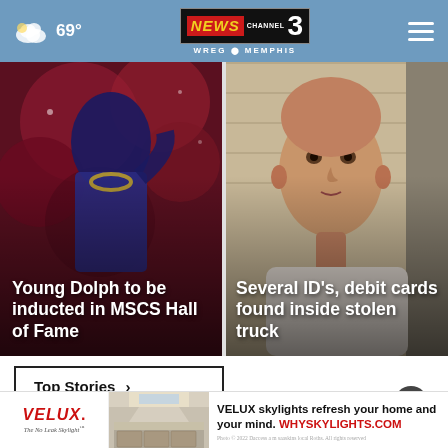69° NEWS CHANNEL 3 WREG MEMPHIS
[Figure (photo): Young Dolph performing on stage in blue outfit against red background]
Young Dolph to be inducted in MSCS Hall of Fame
[Figure (photo): Close-up mugshot-style photo of a man with shaved head]
Several ID's, debit cards found inside stolen truck
Top Stories ›
[Figure (screenshot): VELUX skylights advertisement - VELUX skylights refresh your home and your mind. WHYSKYLIGHTS.COM]